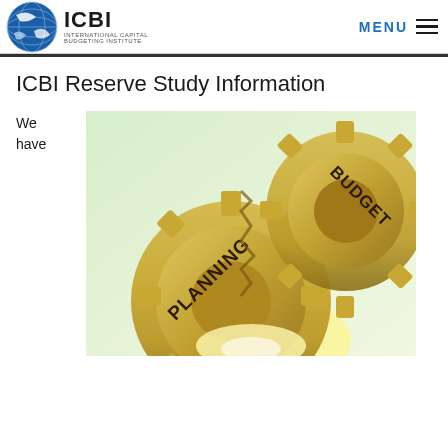ICBI INTERNATIONAL CAPITAL BUDGETING INSTITUTE | MENU
ICBI Reserve Study Information
We have
[Figure (illustration): Two interlocking golden gear cogs with the words PLANNING and BUDGET embossed on them, on a light greenish background with a bright light source at the bottom center.]